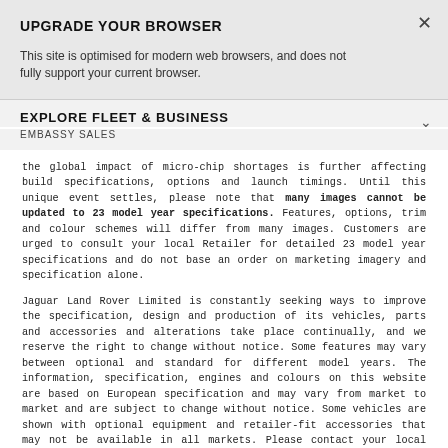UPGRADE YOUR BROWSER
This site is optimised for modern web browsers, and does not fully support your current browser.
EXPLORE FLEET & BUSINESS
EMBASSY SALES
the global impact of micro-chip shortages is further affecting build specifications, options and launch timings. Until this unique event settles, please note that many images cannot be updated to 23 model year specifications. Features, options, trim and colour schemes will differ from many images. Customers are urged to consult your local Retailer for detailed 23 model year specifications and do not base an order on marketing imagery and specification alone.
Jaguar Land Rover Limited is constantly seeking ways to improve the specification, design and production of its vehicles, parts and accessories and alterations take place continually, and we reserve the right to change without notice. Some features may vary between optional and standard for different model years. The information, specification, engines and colours on this website are based on European specification and may vary from market to market and are subject to change without notice. Some vehicles are shown with optional equipment and retailer-fit accessories that may not be available in all markets. Please contact your local retailer for local availability and prices.
The mapping on this website is provided by external mapping pro... and is for general information purposes only.